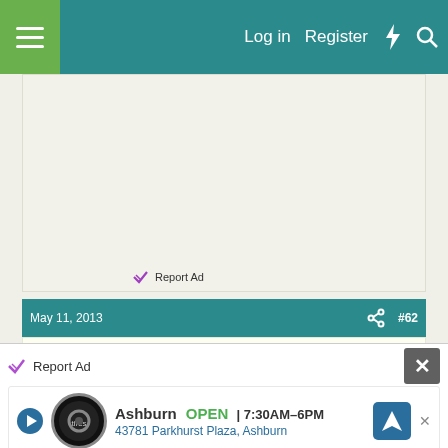Log in  Register
[Figure (screenshot): Advertisement placeholder area (blank/light gray) with Report Ad link at bottom]
Report Ad
May 11, 2013   #62
llovemyrabbit
Report Ad
[Figure (infographic): Auto repair shop ad: Ashburn OPEN 7:30AM-6PM, 43781 Parkhurst Plaza, Ashburn with logo and navigation arrow]